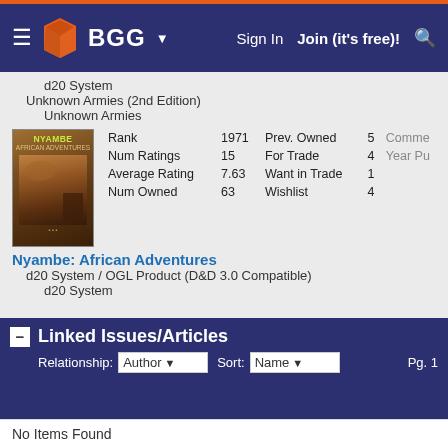BGG — Sign In | Join (it's free)!
d20 System
Unknown Armies (2nd Edition)
    Unknown Armies
Rank: 1971 | Prev. Owned: 5 | Comme...
Num Ratings: 15 | For Trade: 4 | Year Pu...
Average Rating: 7.63 | Want in Trade: 1
Num Owned: 63 | Wishlist: 4
Nyambe: African Adventures
d20 System / OGL Product (D&D 3.0 Compatible)
    d20 System
Linked Issues/Articles
Relationship: Author | Sort: Name | Pg. 1
No Items Found